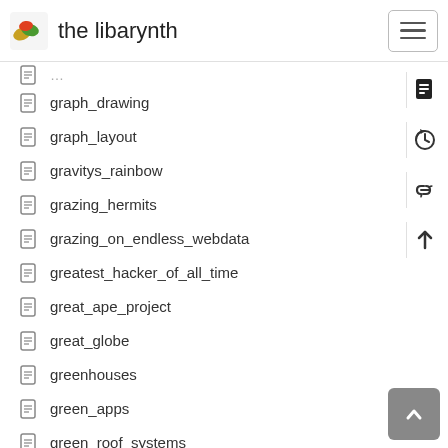the libarynth
graph_drawing
graph_layout
gravitys_rainbow
grazing_hermits
grazing_on_endless_webdata
greatest_hacker_of_all_time
great_ape_project
great_globe
greenhouses
green_apps
green_roof_systems
green_track_food_for_thought
greg_bear
greg_egan
grig
grig_animal
grig_animals
grig_closing_speech